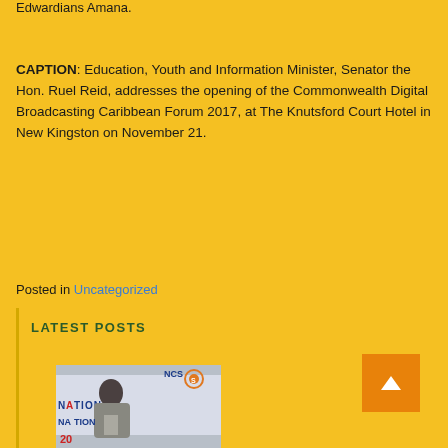Edwardians Amana.
CAPTION: Education, Youth and Information Minister, Senator the Hon. Ruel Reid, addresses the opening of the Commonwealth Digital Broadcasting Caribbean Forum 2017, at The Knutsford Court Hotel in New Kingston on November 21.
Posted in Uncategorized
LATEST POSTS
[Figure (photo): A woman speaking at a podium at the National Community Summit 2017 event with NCS logo visible in background]
Scroll to top button